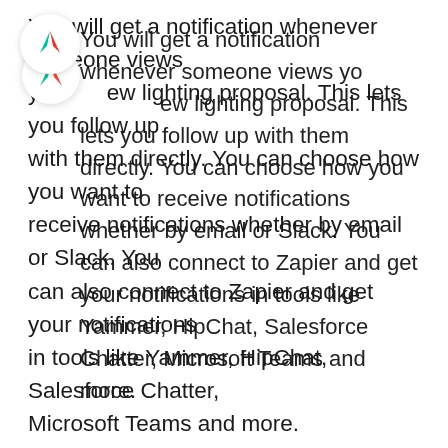You will get a notification whenever someone views your new lighting proposal. This lets you follow up with them directly. You can choose how you want to receive notifications whether by email or Slack. You can also connect to Zapier and get your notifications in tools like Yammer, HipChat, Salesforce Chatter, Microsoft Teams and more.
How do I see what content people engaged with in my new lighting proposal?
Every new lighting proposal created using Qwilr and sent as a webpage will include detailed analytics that lets you know how someone viewed your proposal, where they viewed it, how long they viewed it, what content they engaged with and more. This